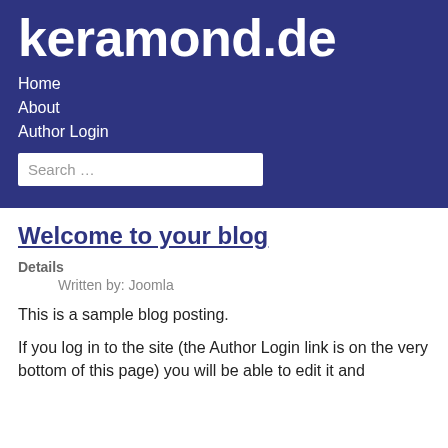keramond.de
Home
About
Author Login
Welcome to your blog
Details
Written by: Joomla
This is a sample blog posting.
If you log in to the site (the Author Login link is on the very bottom of this page) you will be able to edit it and